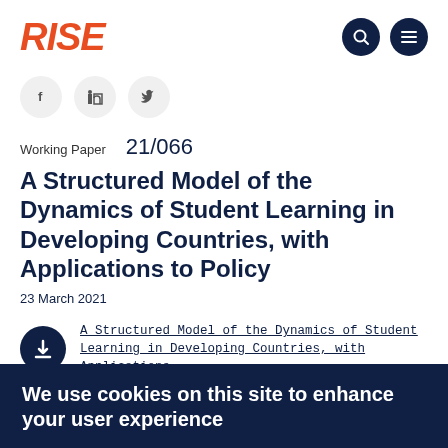RISE
[Figure (logo): RISE logo in orange/red italic bold text, with two dark navy circle nav icons (search and menu) on the right]
[Figure (infographic): Three circular social share buttons: Facebook (f), LinkedIn (in), Twitter (bird icon)]
Working Paper   21/066
A Structured Model of the Dynamics of Student Learning in Developing Countries, with Applications to Policy
23 March 2021
A Structured Model of the Dynamics of Student Learning in Developing Countries, with Applications
We use cookies on this site to enhance your user experience